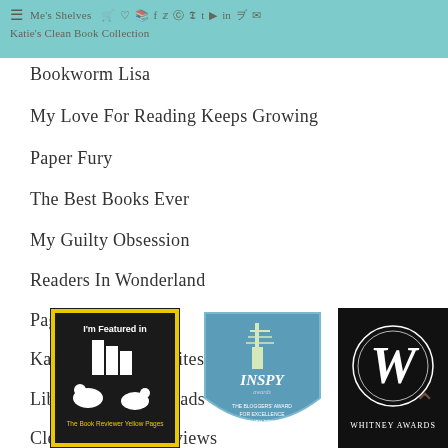Me's Shelves | Katie's Clean Book Collection
Bookworm Lisa
My Love For Reading Keeps Growing
Paper Fury
The Best Books Ever
My Guilty Obsession
Readers In Wonderland
Page Turner's Blog
Kathryn Cooper Writes
Library of Clean Reads
Clean Romance Reviews
[Figure (logo): The Book Reviewer Yellow Pages - I'm Featured in badge with black background and yellow border]
[Figure (logo): The INSPY Awards badge - The Bloggers' Award for Excellence in Faith-Driven Literature]
[Figure (logo): Whitney Awards badge with black background and cursive W logo]